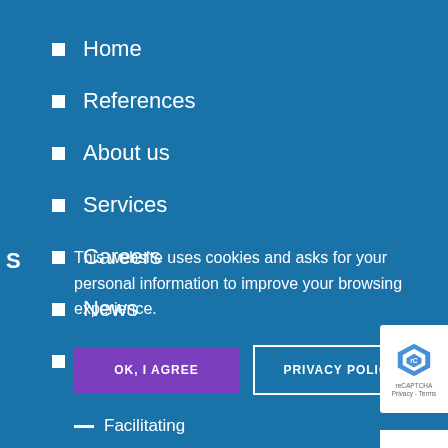Home
References
About us
Services
Careers
News
Contact
This website uses cookies and asks for your personal information to improve your browsing experience.
OK, I AGREE
PRIVACY POLICY
Facilitating